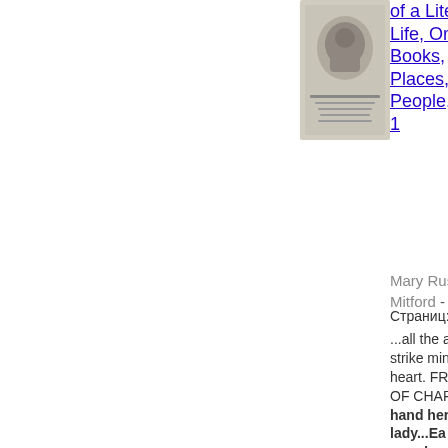[Figure (photo): Small book cover thumbnail showing a portrait and text about a literary life]
of a Literary Life, Or, Books, Places, and People, To 1
Mary Russell Mitford - 1857
Страниц: 376
...all the adulteries of a ; They strike mine eyes, but not my heart. FROM A CELEBRATION OF CHARIS. See the char at hand here Love, Where my lady...Each that draws is swan or a dove, And w the car Lovo guideth. As sh goes all heart